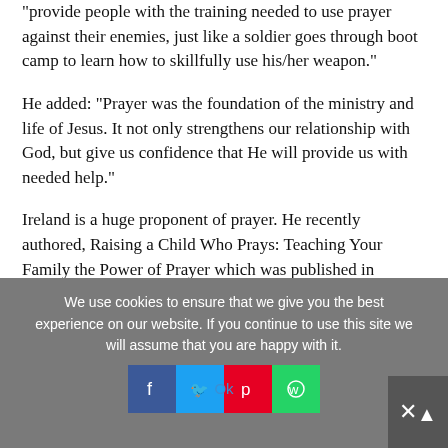“provide people with the training needed to use prayer against their enemies, just like a soldier goes through boot camp to learn how to skillfully use his/her weapon.”
He added: “Prayer was the foundation of the ministry and life of Jesus. It not only strengthens our relationship with God, but give us confidence that He will provide us with needed help.”
Ireland is a huge proponent of prayer. He recently authored, Raising a Child Who Prays: Teaching Your Family the Power of Prayer which was published in August. It is described as the ultimate spiritual training guide for parents to instill strong prayer habits in their children.
We use cookies to ensure that we give you the best experience on our website. If you continue to use this site we will assume that you are happy with it.